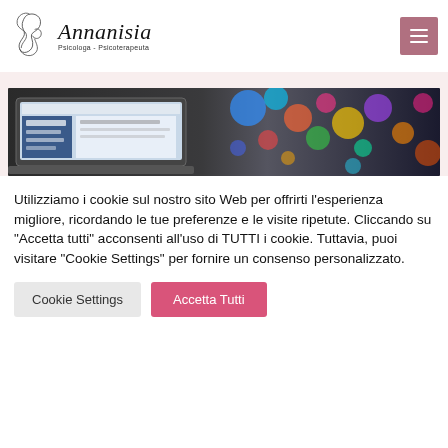[Figure (logo): Annanisia logo with stylized cursive figure and italic text 'Annanisia' with subtitle 'Psicologa - Psicoterapeuta']
[Figure (photo): Close-up photo of a laptop screen on the left with colorful bokeh lights on the right background]
Utilizziamo i cookie sul nostro sito Web per offrirti l'esperienza migliore, ricordando le tue preferenze e le visite ripetute. Cliccando su "Accetta tutti" acconsenti all'uso di TUTTI i cookie. Tuttavia, puoi visitare "Cookie Settings" per fornire un consenso personalizzato.
Cookie Settings | Accetta Tutti